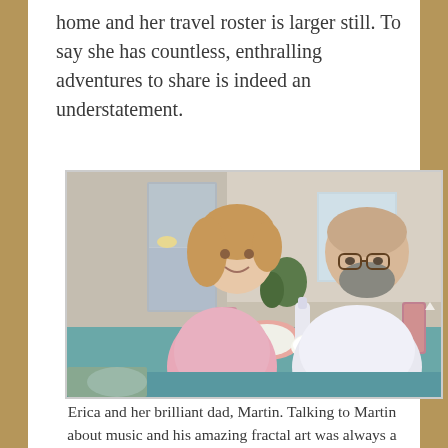home and her travel roster is larger still. To say she has countless, enthralling adventures to share is indeed an understatement.
[Figure (photo): A woman and a man sitting at a table with food and drinks. The woman on the left has shoulder-length blonde hair and is wearing a pink floral top. The man on the right is bald with glasses and a beard, wearing a white t-shirt. They appear to be in a casual dining setting.]
Erica and her brilliant dad, Martin. Talking to Martin about music and his amazing fractal art was always a joy.